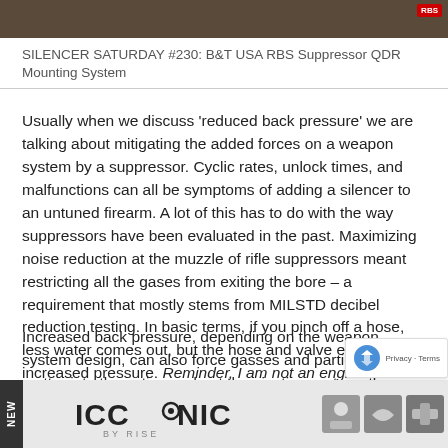[Figure (photo): Dark wood-grain background image with a red label in the top right corner]
SILENCER SATURDAY #230: B&T USA RBS Suppressor QDR Mounting System
Usually when we discuss 'reduced back pressure' we are talking about mitigating the added forces on a weapon system by a suppressor. Cyclic rates, unlock times, and malfunctions can all be symptoms of adding a silencer to an untuned firearm. A lot of this has to do with the way suppressors have been evaluated in the past. Maximizing noise reduction at the muzzle of rifle suppressors meant restricting all the gases from exiting the bore – a requirement that mostly stems from MILSTD decibel reduction testing. In basic terms, if you pinch off a hose, less water comes out, but the hose and valve experience increased pressure. Reminder, I am not an engineer.
Increased back pressure, depending on the weapon system design, can also force gasses and particulate matter into the action and out the ejection port or other openings like the charging handle in the AR-15/M-16 platform. At best, the phenomenon is uncomfortable; at worst, toxic gasses can be harmful to the shooter and the weapon system. The suppressor and host weapon manufacturers, as well as importers
[Figure (logo): ICONIC BY RISE advertisement banner with NEW label on left side and product icons on right]